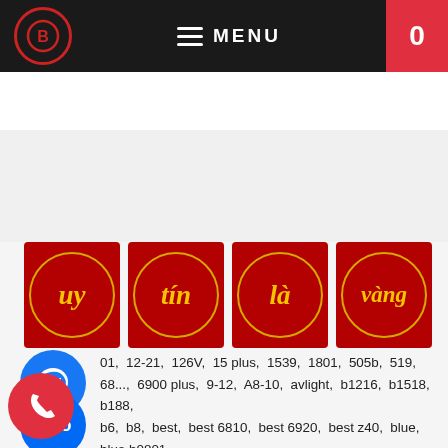MENU | 0
[Figure (illustration): Four red square tiles each with a gold circle containing Vietnamese text: 'uy', 'tín', 'là', 'vàng' — meaning 'credibility is gold']
[Figure (illustration): Messenger chat icon (blue circle with white lightning bolt)]
[Figure (illustration): Zalo app icon (blue circle with white Zalo text)]
[Figure (illustration): Phone call icon (red circle with white phone handset)]
01, 12-21, 126V, 15 plus, 1539, 1801, 505b, 519, 68..., 6900 plus, 9-12, A8-10, avlight, b1216, b1518, b188, b6, b8, best, best 6810, best 6920, best z40, blue, blue b0801, b..., blue b1518, blue b188, blue b2, blue b4, blue b6, blue b8..., 518, Bock, bose, bose gk519, bosegk1519, bosegk518, Box12, DT20-15, Eagle TU15, ed1502, f10, feiyang, FEIYANG 6827, FEI...698, Feiyang qx08-62, GD1206, gd1539, GD215-12, G..., gk518, gk519, Hansen, J1507, JBA, JBA 505B, JBA A09..., JA J505A, jba sk2153, JBZ, JBZ NE106, jt0605, KD 12T, koda, koda 1200, koda KD 12t, kvg a8-10, langting 0576, langting